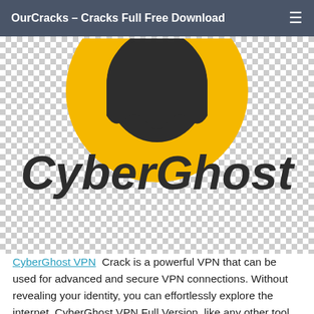OurCracks - Cracks Full Free Download
[Figure (logo): CyberGhost VPN logo: yellow circle with dark ghost icon above, and 'CyberGhost' in large dark bold italic text below, on a transparent/checkered background]
CyberGhost VPN Crack is a powerful VPN that can be used for advanced and secure VPN connections. Without revealing your identity, you can effortlessly explore the internet. CyberGhost VPN Full Version, like any other tool, covers your profile information and original IP address. More than 55,000 servers are available in 96